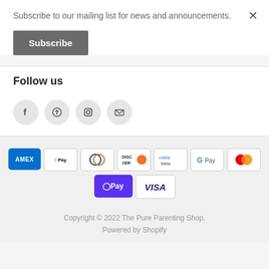Subscribe to our mailing list for news and announcements.
Subscribe
×
Follow us
[Figure (infographic): Four social media icons in grey circles: Facebook (f), Pinterest (p), Instagram (camera), Email (envelope)]
[Figure (infographic): Payment method badges: AMEX, Apple Pay, Diners Club, Discover, Meta Pay, Google Pay, Mastercard, Shop Pay, Visa]
Copyright © 2022 The Pure Parenting Shop.
Powered by Shopify